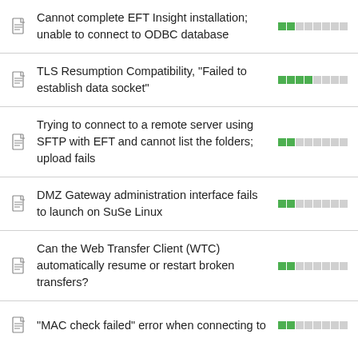Cannot complete EFT Insight installation; unable to connect to ODBC database
TLS Resumption Compatibility, "Failed to establish data socket"
Trying to connect to a remote server using SFTP with EFT and cannot list the folders; upload fails
DMZ Gateway administration interface fails to launch on SuSe Linux
Can the Web Transfer Client (WTC) automatically resume or restart broken transfers?
"MAC check failed" error when connecting to